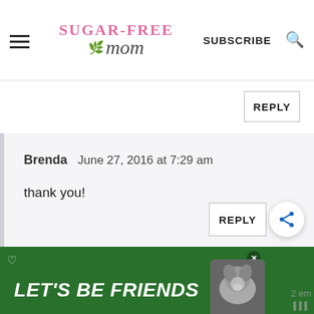Sugar-Free Mom | SUBSCRIBE
REPLY
Brenda   June 27, 2016 at 7:29 am

thank you!
REPLY
LET'S BE FRIENDS